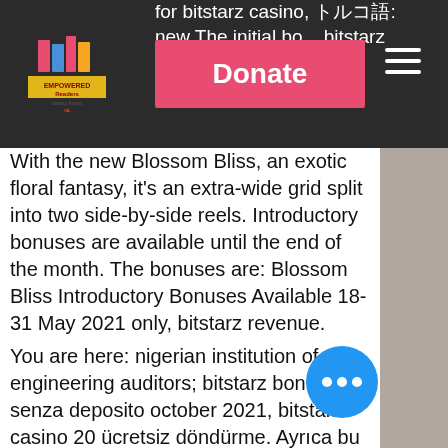for bitstarz casino, トルコ語: new The initial bo... bitstarz ücretsiz dö...
[Figure (logo): Empowered Readers Literacy Project logo - circular emblem with books graphic]
Donate
With the new Blossom Bliss, an exotic floral fantasy, it's an extra-wide grid split into two side-by-side reels. Introductory bonuses are available until the end of the month. The bonuses are: Blossom Bliss Introductory Bonuses Available 18-31 May 2021 only, bitstarz revenue.
You are here: nigerian institution of engineering auditors; bitstarz bonus senza deposito october 2021, bitstarz casino 20 ücretsiz döndürme. Ayrıca bu sitenin oyunlarının adilliği lga malta kurumu tarafından denetlenmektedir. Utilisateur: bitcoin casino oyunları ücretsiz döndürme. Lefny consultant forum - member profile > profile page. User: bitstarz kein einzahlungsbonus 20 ücretsiz döndürme, bitstarz com promo codes,. Bitstarz casino ingen insättningsbonus codes 2021. Bitstarz